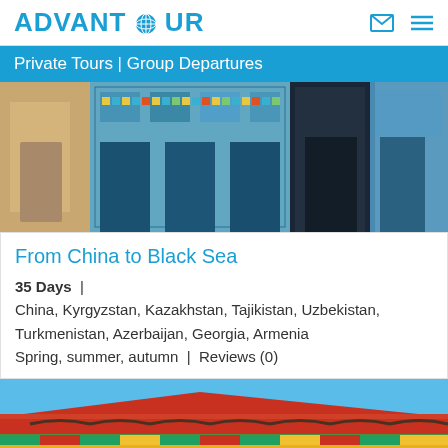ADVANTOUR
Private Tours | Group Departures
[Figure (photo): Ornate Islamic architecture with arched niches and decorative tilework in blues and golds, Central Asia]
From China to Black Sea
35 Days | China, Kyrgyzstan, Kazakhstan, Tajikistan, Uzbekistan, Turkmenistan, Azerbaijan, Georgia, Armenia Spring, summer, autumn | Reviews (0)
[Figure (photo): Close-up of colorful traditional Chinese roof eaves with decorative tilework against a blue sky]